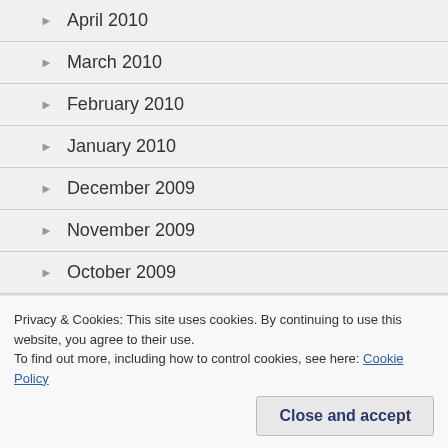April 2010
March 2010
February 2010
January 2010
December 2009
November 2009
October 2009
September 2009
Privacy & Cookies: This site uses cookies. By continuing to use this website, you agree to their use.
To find out more, including how to control cookies, see here: Cookie Policy
Close and accept